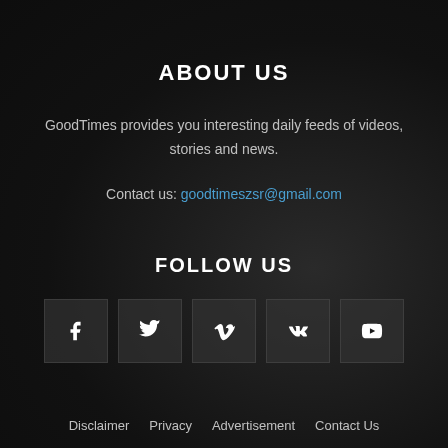ABOUT US
GoodTimes provides you interesting daily feeds of videos, stories and news.
Contact us: goodtimeszsr@gmail.com
FOLLOW US
[Figure (infographic): Five social media icon boxes: Facebook (f), Twitter (bird), Vimeo (v), VK (vk), YouTube (play button)]
Disclaimer  Privacy  Advertisement  Contact Us
© Copyright by GoodTimes